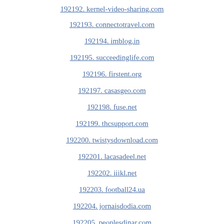192192. kernel-video-sharing.com
192193. connectotravel.com
192194. imblog.in
192195. succeedinglife.com
192196. firstent.org
192197. casasgeo.com
192198. fuse.net
192199. thcsupport.com
192200. twistysdownload.com
192201. lacasadeel.net
192202. iiikl.net
192203. football24.ua
192204. jornaisdodia.com
192205. peoplesdinar.com
192206. studentenwork.nl